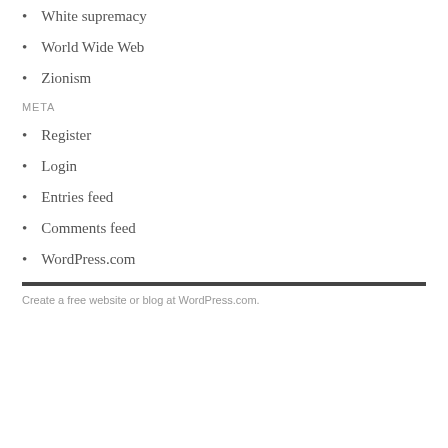White supremacy
World Wide Web
Zionism
META
Register
Login
Entries feed
Comments feed
WordPress.com
Create a free website or blog at WordPress.com.